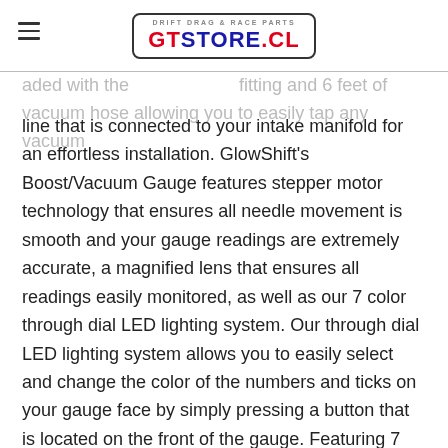GTSTORE.CL
aded with the fitting and 6 feet of vacuum hose allowing you to easily tap any vacuum line that is connected to your intake manifold for an effortless installation. GlowShift's Boost/Vacuum Gauge features stepper motor technology that ensures all needle movement is smooth and your gauge readings are extremely accurate, a magnified lens that ensures all readings easily monitored, as well as our 7 color through dial LED lighting system. Our through dial LED lighting system allows you to easily select and change the color of the numbers and ticks on your gauge face by simply pressing a button that is located on the front of the gauge. Featuring 7 solid color modes and 2 color cycle modes, this gauge will let you match your factory dash lights or add your own personal style to the interior of your vehicle. With a color memory feature built into each gauge, you won't have to worry about changing the color of the gauge every time you power up